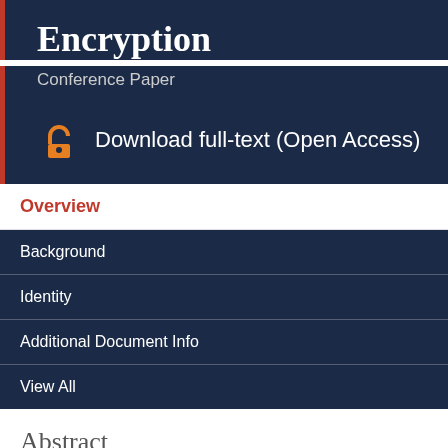Encryption
Conference Paper
Download full-text (Open Access)
Overview
Background
Identity
Additional Document Info
View All
Abstract